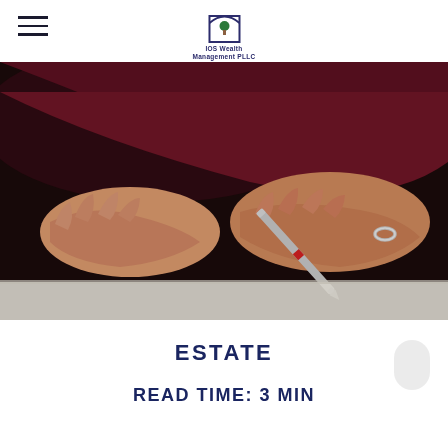[Figure (logo): IOS Wealth Management PLLC logo — arch/window icon with company name below]
[Figure (photo): Close-up photo of elderly person's hands signing a document with a silver and red pen, wearing a silver ring, dressed in dark red/maroon clothing]
ESTATE
READ TIME: 3 MIN